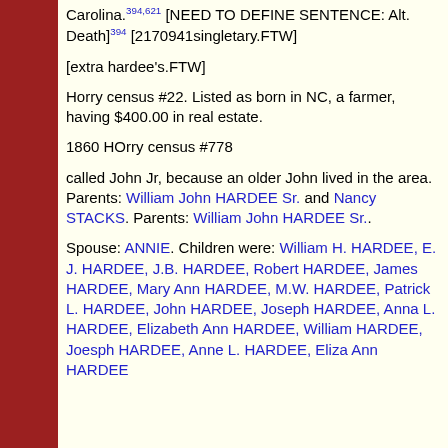Carolina.394,621 [NEED TO DEFINE SENTENCE: Alt. Death]394 [2170941singletary.FTW]
[extra hardee's.FTW]
Horry census #22. Listed as born in NC, a farmer, having $400.00 in real estate.
1860 HOrry census #778
called John Jr, because an older John lived in the area. Parents: William John HARDEE Sr. and Nancy STACKS. Parents: William John HARDEE Sr..
Spouse: ANNIE. Children were: William H. HARDEE, E. J. HARDEE, J.B. HARDEE, Robert HARDEE, James HARDEE, Mary Ann HARDEE, M.W. HARDEE, Patrick L. HARDEE, John HARDEE, Joseph HARDEE, Anna L. HARDEE, Elizabeth Ann HARDEE, William HARDEE, Joesph HARDEE, Anne L. HARDEE, Eliza Ann HARDEE.